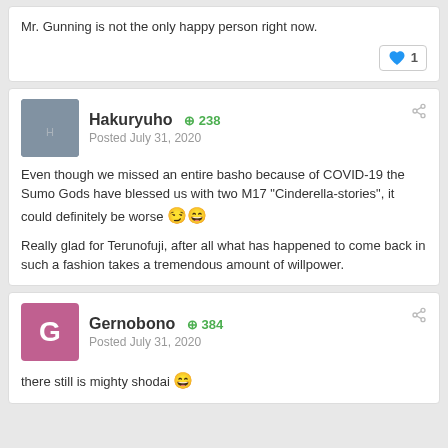Mr. Gunning is not the only happy person right now.
1 like
Hakuryuho +238 Posted July 31, 2020
Even though we missed an entire basho because of COVID-19 the Sumo Gods have blessed us with two M17 "Cinderella-stories", it could definitely be worse 😏😄

Really glad for Terunofuji, after all what has happened to come back in such a fashion takes a tremendous amount of willpower.
Gernobono +384 Posted July 31, 2020
there still is mighty shodai 😄